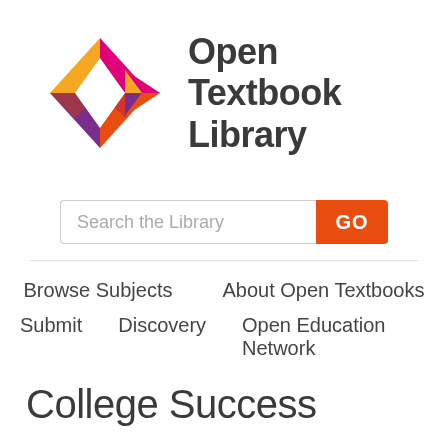[Figure (logo): Open Textbook Library logo: geometric hexagon shape in orange, red, magenta, purple colors with text 'Open Textbook Library']
Search the Library
GO
Browse Subjects    About Open Textbooks
Submit    Discovery    Open Education Network
College Success